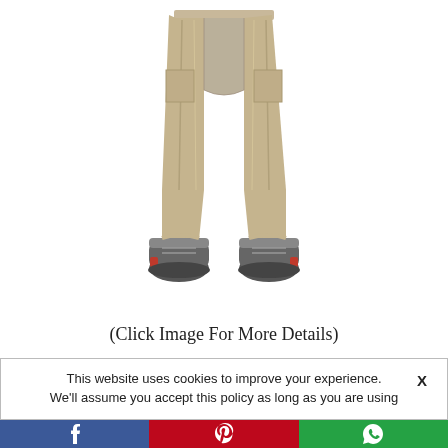[Figure (photo): Lower body of a person wearing khaki/tan convertible cargo pants and dark gray athletic shoes with red accents, shown from waist down against a white background.]
(Click Image For More Details)
This website uses cookies to improve your experience.   X
We'll assume you accept this policy as long as you are using
[Figure (infographic): Social sharing bar with three buttons: Facebook (blue, f icon), Pinterest (red, P icon), WhatsApp (green, phone icon)]